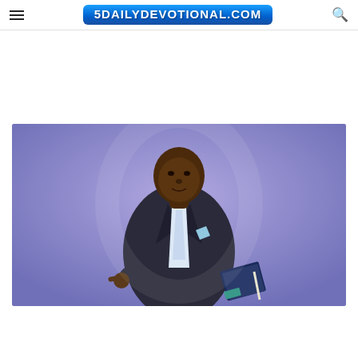5DAILYDEVOTIONAL.COM
[Figure (photo): A man in a dark suit with a light tie, holding a book, pointing forward, standing against a purple background. Appears to be a preacher or pastor at a speaking engagement.]